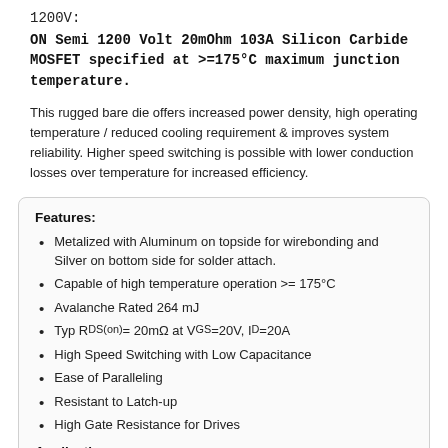1200V:
ON Semi 1200 Volt 20mOhm 103A Silicon Carbide MOSFET specified at >=175°C maximum junction temperature.
This rugged bare die offers increased power density, high operating temperature / reduced cooling requirement & improves system reliability. Higher speed switching is possible with lower conduction losses over temperature for increased efficiency.
Features:
Metalized with Aluminum on topside for wirebonding and Silver on bottom side for solder attach.
Capable of high temperature operation >= 175°C
Avalanche Rated 264 mJ
Typ RDS(on) = 20mΩ at VGS=20V, ID=20A
High Speed Switching with Low Capacitance
Ease of Paralleling
Resistant to Latch-up
High Gate Resistance for Drives
Applications: